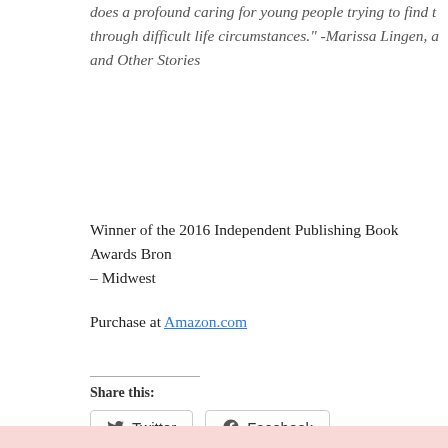does a profound caring for young people trying to find their way through difficult life circumstances." -Marissa Lingen, a and Other Stories
Winner of the 2016 Independent Publishing Book Awards Bronze – Midwest
Purchase at Amazon.com
Share this:
[Figure (other): Twitter and Facebook share buttons]
Becoming Phoebe